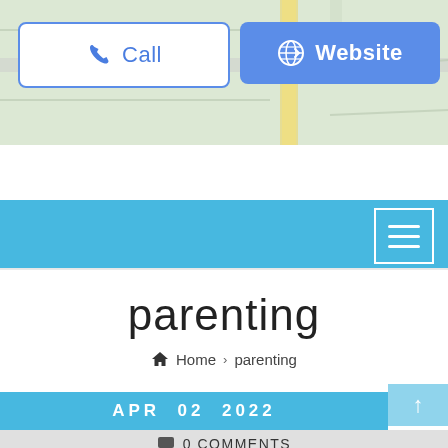[Figure (screenshot): Map background with road lines and green terrain]
[Figure (screenshot): Call button with phone icon, white background and blue border]
[Figure (screenshot): Website button with globe icon, blue background]
[Figure (screenshot): Blue navigation bar with hamburger menu icon]
parenting
Home > parenting
APR  02  2022
0 COMMENTS